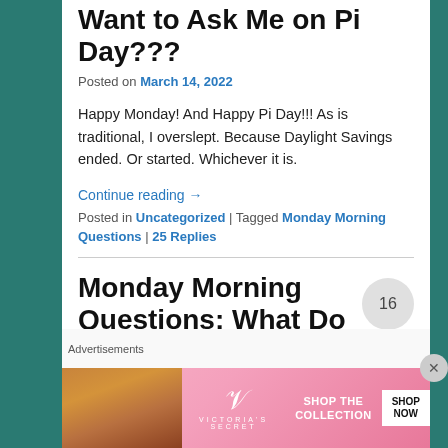Want to Ask Me on Pi Day???
Posted on March 14, 2022
Happy Monday! And Happy Pi Day!!! As is traditional, I overslept. Because Daylight Savings ended. Or started. Whichever it is.
Continue reading →
Posted in Uncategorized | Tagged Monday Morning Questions | 25 Replies
Monday Morning Questions: What Do You Want to Ask Me
[Figure (other): Comment bubble showing number 16]
Advertisements
[Figure (photo): Victoria's Secret advertisement banner with woman photo, VS logo, 'SHOP THE COLLECTION' text, and 'SHOP NOW' button]